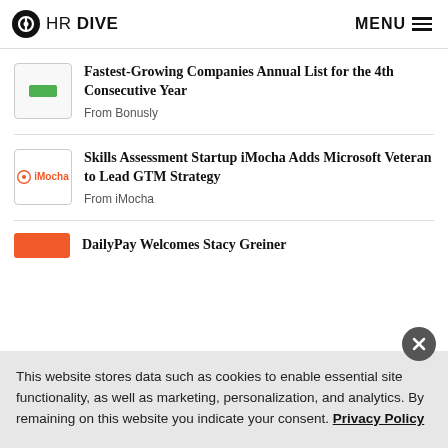HR DIVE | MENU
Fastest-Growing Companies Annual List for the 4th Consecutive Year
From Bonusly
Skills Assessment Startup iMocha Adds Microsoft Veteran to Lead GTM Strategy
From iMocha
DailyPay Welcomes Stacy Greiner
This website stores data such as cookies to enable essential site functionality, as well as marketing, personalization, and analytics. By remaining on this website you indicate your consent. Privacy Policy